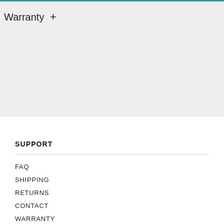Warranty +
SUPPORT
FAQ
SHIPPING
RETURNS
CONTACT
WARRANTY